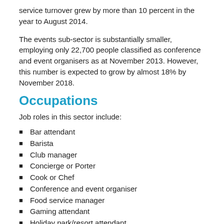service turnover grew by more than 10 percent in the year to August 2014.
The events sub-sector is substantially smaller, employing only 22,700 people classified as conference and event organisers as at November 2013. However, this number is expected to grow by almost 18% by November 2018.
Occupations
Job roles in this sector include:
Bar attendant
Barista
Club manager
Concierge or Porter
Cook or Chef
Conference and event organiser
Food service manager
Gaming attendant
Holiday park/resort attendant
Holiday park/resort manager
Hotel service supervisor
Hotel/motel front office clerk